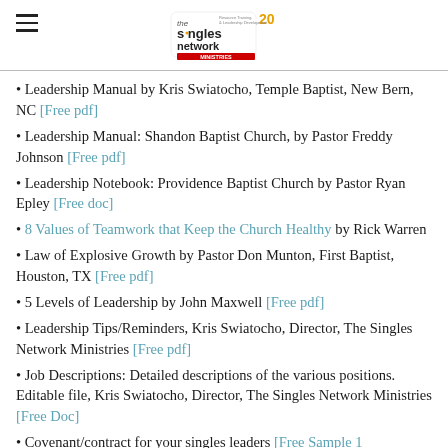The Singles Network (logo)
Leadership Manual by Kris Swiatocho, Temple Baptist, New Bern, NC [Free pdf]
Leadership Manual: Shandon Baptist Church, by Pastor Freddy Johnson [Free pdf]
Leadership Notebook: Providence Baptist Church by Pastor Ryan Epley [Free doc]
8 Values of Teamwork that Keep the Church Healthy by Rick Warren
Law of Explosive Growth by Pastor Don Munton, First Baptist, Houston, TX [Free pdf]
5 Levels of Leadership by John Maxwell [Free pdf]
Leadership Tips/Reminders, Kris Swiatocho, Director, The Singles Network Ministries [Free pdf]
Job Descriptions: Detailed descriptions of the various positions. Editable file, Kris Swiatocho, Director, The Singles Network Ministries [Free Doc]
Covenant/contract for your singles leaders [Free Sample 1